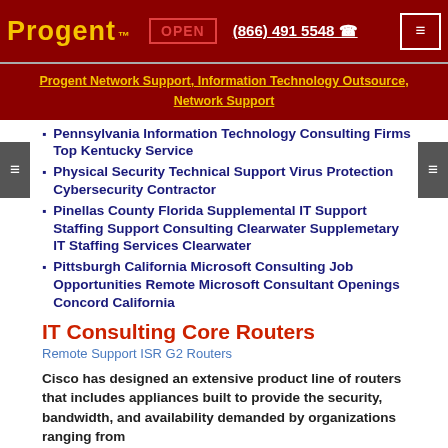Progent™  OPEN  (866) 491 5548  ☎  ≡
Progent Network Support, Information Technology Outsource, Network Support
Pennsylvania Information Technology Consulting Firms Top Kentucky Service
Physical Security Technical Support Virus Protection Cybersecurity Contractor
Pinellas County Florida Supplemental IT Support Staffing Support Consulting Clearwater Supplemetary IT Staffing Services Clearwater
Pittsburgh California Microsoft Consulting Job Opportunities Remote Microsoft Consultant Openings Concord California
IT Consulting Core Routers
Remote Support ISR G2 Routers
Cisco has designed an extensive product line of routers that includes appliances built to provide the security, bandwidth, and availability demanded by organizations ranging from